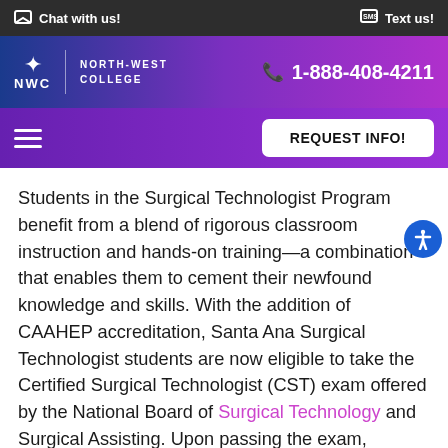Chat with us!  Text us!
[Figure (logo): North-West College NWC logo with star emblem and phone number 1-888-408-4211 on blue-to-purple gradient header]
REQUEST INFO!
Students in the Surgical Technologist Program benefit from a blend of rigorous classroom instruction and hands-on training—a combination that enables them to cement their newfound knowledge and skills. With the addition of CAAHEP accreditation, Santa Ana Surgical Technologist students are now eligible to take the Certified Surgical Technologist (CST) exam offered by the National Board of Surgical Technology and Surgical Assisting. Upon passing the exam, graduates are considered Certified Surgical Technologists.